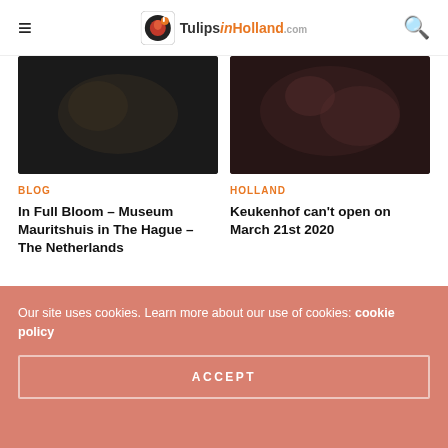TulipsinHolland.com
[Figure (photo): Dark blurred thumbnail image for blog card 1]
BLOG
In Full Bloom – Museum Mauritshuis in The Hague – The Netherlands
[Figure (photo): Dark blurred thumbnail image for blog card 2]
HOLLAND
Keukenhof can't open on March 21st 2020
Our site uses cookies. Learn more about our use of cookies: cookie policy